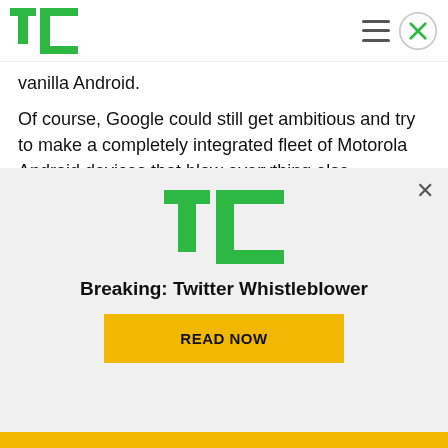TechCrunch header with logo, hamburger menu, and close button
vanilla Android.
Of course, Google could still get ambitious and try to make a completely integrated fleet of Motorola Android devices that blow everything else (including the iPhone) out of the water. But it would only get one shot at it — such a move would infuriate its partners to the point that they would abandon the platform, or at the very least, begin to seek
[Figure (logo): TechCrunch TC logo in green]
Breaking: Twitter Whistleblower
READ NOW